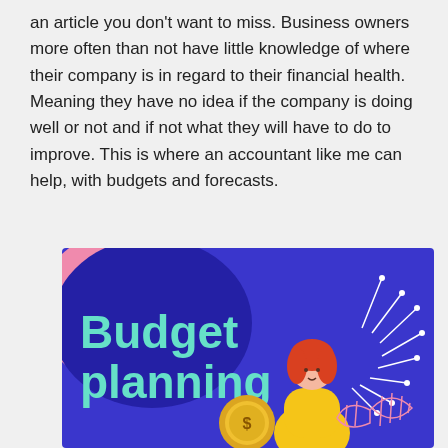an article you don't want to miss. Business owners more often than not have little knowledge of where their company is in regard to their financial health. Meaning they have no idea if the company is doing well or not and if not what they will have to do to improve. This is where an accountant like me can help, with budgets and forecasts.
[Figure (illustration): Budget planning illustration with a blue and pink background, text reading 'Budget planning' in teal/mint color, a cartoon woman with red hair and yellow outfit, a gold coin with dollar sign, and decorative burst/sparkle lines on the right side.]